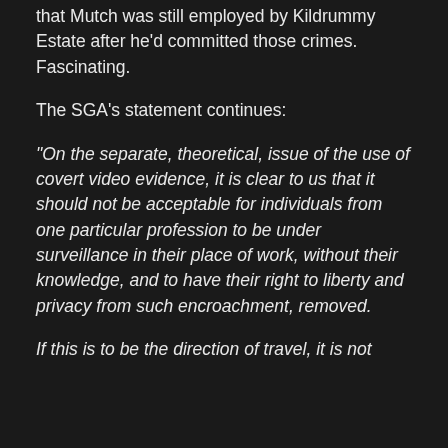that Mutch was still employed by Kildrummy Estate after he'd committed those crimes. Fascinating.
The SGA's statement continues:
“On the separate, theoretical, issue of the use of covert video evidence, it is clear to us that it should not be acceptable for individuals from one particular profession to be under surveillance in their place of work, without their knowledge, and to have their right to liberty and privacy from such encroachment, removed.
If this is to be the direction of travel, it is not